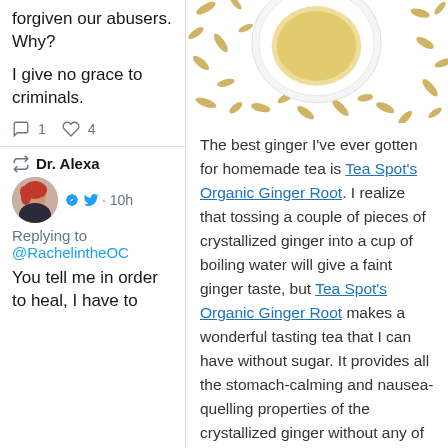forgiven our abusers. Why?
I give no grace to criminals.
1  4
Dr. Alexa
· 10h
Replying to @RachelintheOC
You tell me in order to heal, I have to
[Figure (photo): Top-down photo of dried ginger root pieces surrounding a small white bowl with liquid]
The best ginger I've ever gotten for homemade tea is Tea Spot's Organic Ginger Root. I realize that tossing a couple of pieces of crystallized ginger into a cup of boiling water will give a faint ginger taste, but Tea Spot's Organic Ginger Root makes a wonderful tasting tea that I can have without sugar. It provides all the stomach-calming and nausea-quelling properties of the crystallized ginger without any of the sugar. Also, since the ginger root is dried and chopped, I don't have to store it in the refrigerator or freezer as I do with fresh or crystallized ginger,